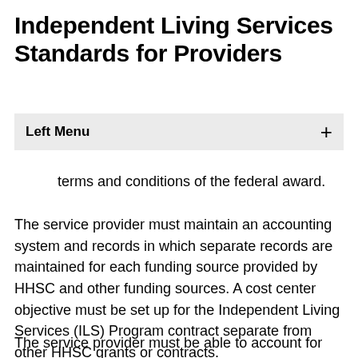Independent Living Services Standards for Providers
Left Menu
terms and conditions of the federal award.
The service provider must maintain an accounting system and records in which separate records are maintained for each funding source provided by HHSC and other funding sources. A cost center objective must be set up for the Independent Living Services (ILS) Program contract separate from other HHSC grants or contracts.
The service provider must be able to account for ILS